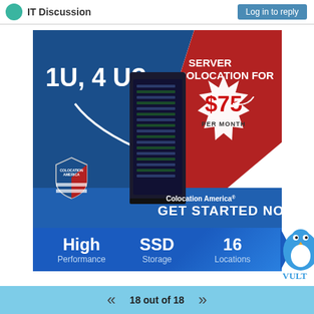IT Discussion | Log in to reply
[Figure (infographic): Colocation America advertisement: '1U, 4 U?' server colocation for $75 per month. Features High Performance, SSD Storage, 16 Locations.]
18 out of 18